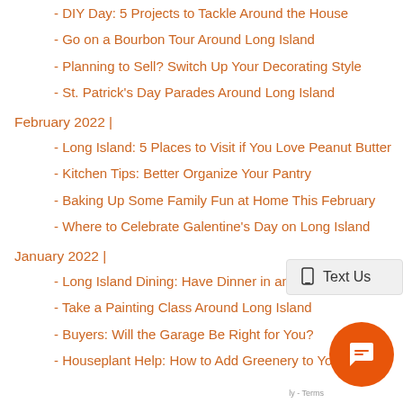- DIY Day: 5 Projects to Tackle Around the House
- Go on a Bourbon Tour Around Long Island
- Planning to Sell? Switch Up Your Decorating Style
- St. Patrick's Day Parades Around Long Island
February 2022 |
- Long Island: 5 Places to Visit if You Love Peanut Butter
- Kitchen Tips: Better Organize Your Pantry
- Baking Up Some Family Fun at Home This February
- Where to Celebrate Galentine's Day on Long Island
January 2022 |
- Long Island Dining: Have Dinner in an Igloo
- Take a Painting Class Around Long Island
- Buyers: Will the Garage Be Right for You?
- Houseplant Help: How to Add Greenery to Your Home